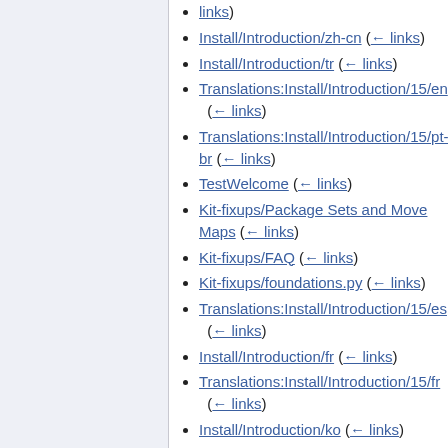Install/Introduction/zh-cn (← links)
Install/Introduction/tr (← links)
Translations:Install/Introduction/15/en (← links)
Translations:Install/Introduction/15/pt-br (← links)
TestWelcome (← links)
Kit-fixups/Package Sets and Move Maps (← links)
Kit-fixups/FAQ (← links)
Kit-fixups/foundations.py (← links)
Translations:Install/Introduction/15/es (← links)
Install/Introduction/fr (← links)
Translations:Install/Introduction/15/fr (← links)
Install/Introduction/ko (← links)
Translations:Install/Introduction/15/ko (← links)
Translations:Install/Introduction/15/ru (← links)
Install/Introduction/pl (← links)
Translations:Install/Introduction/15/pl (← links)